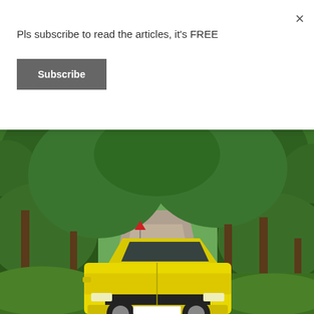Pls subscribe to read the articles, it's FREE
Subscribe
×
[Figure (photo): A yellow sedan car parked on a narrow tree-lined road surrounded by dense green tropical forest, with a red diamond warning sign visible in the background.]